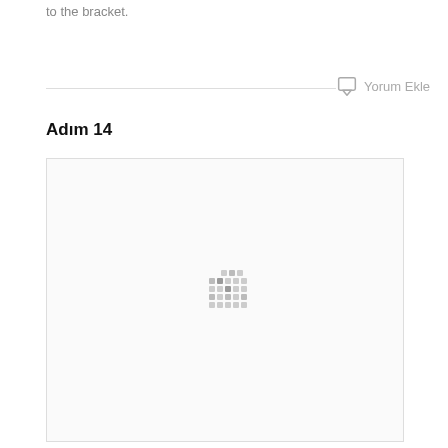to the bracket.
Yorum Ekle
Adım 14
[Figure (photo): Large image placeholder with loading indicator (dot grid) centered in a light-bordered white box]